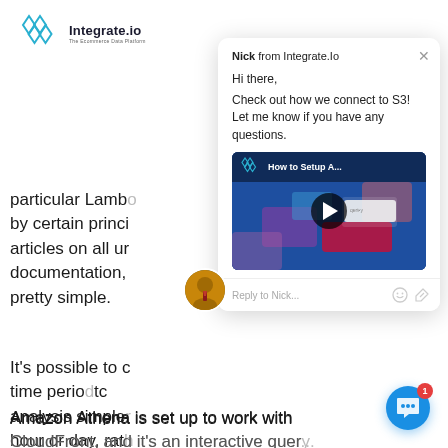[Figure (logo): Integrate.io logo with hexagon icon and tagline 'The Ecommerce Data Platform']
particular Lambda by certain princi articles on all ur documentation, pretty simple.
It's possible to c time period tc analysis simpler hour or day, rath weeks' worth of data.
[Figure (screenshot): Chat popup from Nick at Integrate.io saying: Hi there, Check out how we connect to S3! Let me know if you have any questions. With an embedded video thumbnail titled 'How to Setup A...' and a reply input field.]
Amazon Athena is set up to work with CloudFront, and it's an interactive quer...